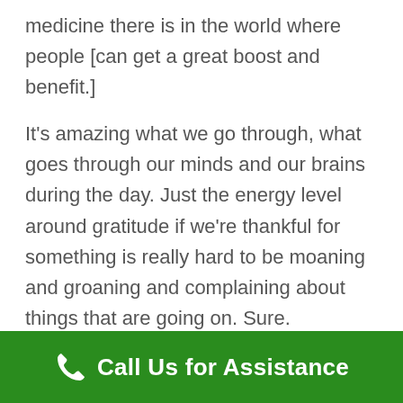medicine there is in the world where people [can get a great boost and benefit.]
It's amazing what we go through, what goes through our minds and our brains during the day. Just the energy level around gratitude if we're thankful for something is really hard to be moaning and groaning and complaining about things that are going on. Sure. Everybody has struggles and problems as part of life. If we, if we don't struggle, we don't build muscle. That's part of resistance training. We've got to use heavy weights to tone up our muscles. Well, it's the
Call Us for Assistance